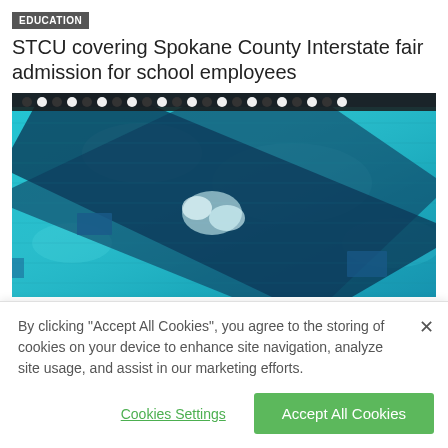EDUCATION
STCU covering Spokane County Interstate fair admission for school employees
[Figure (photo): Close-up aerial view of a swimming pool with lane dividers, turquoise blue water and dark lane lines visible from above]
By clicking “Accept All Cookies”, you agree to the storing of cookies on your device to enhance site navigation, analyze site usage, and assist in our marketing efforts.
Cookies Settings
Accept All Cookies